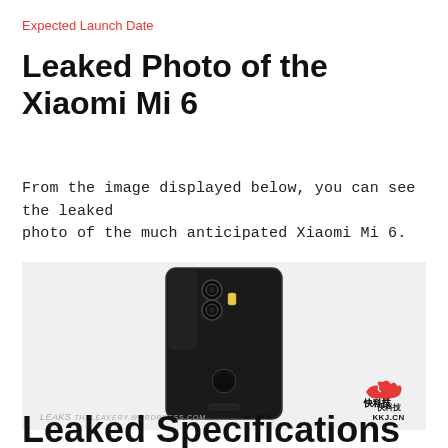Expected Launch Date
Leaked Photo of the Xiaomi Mi 6
From the image displayed below, you can see the leaked photo of the much anticipated Xiaomi Mi 6.
[Figure (photo): Leaked back view of the Xiaomi Mi 6 smartphone, showing dual cameras at the top, a black glossy body, with watermark 'LEAKS' on the lower left and '快科技 KKJ.CN' logo on the lower right]
Leaked Specifications